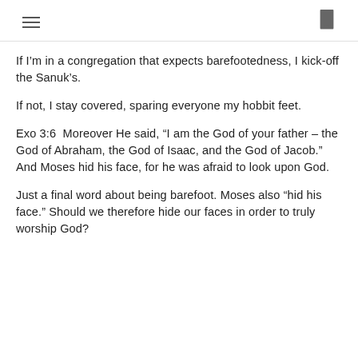[hamburger menu icon] [bookmark icon]
If I'm in a congregation that expects barefootedness, I kick-off the Sanuk's.
If not, I stay covered, sparing everyone my hobbit feet.
Exo 3:6  Moreover He said, “I am the God of your father – the God of Abraham, the God of Isaac, and the God of Jacob.” And Moses hid his face, for he was afraid to look upon God.
Just a final word about being barefoot. Moses also “hid his face.” Should we therefore hide our faces in order to truly worship God?